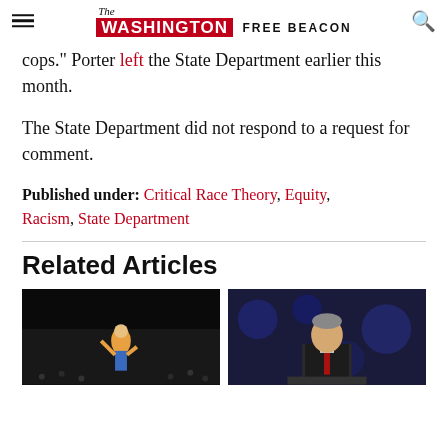The Washington Free Beacon
cops." Porter left the State Department earlier this month.
The State Department did not respond to a request for comment.
Published under: Critical Race Theory, Equity, Racism, State Department
Related Articles
[Figure (photo): Performer on stage against dark background with crowd]
[Figure (photo): Man in suit speaking at podium against blue background]